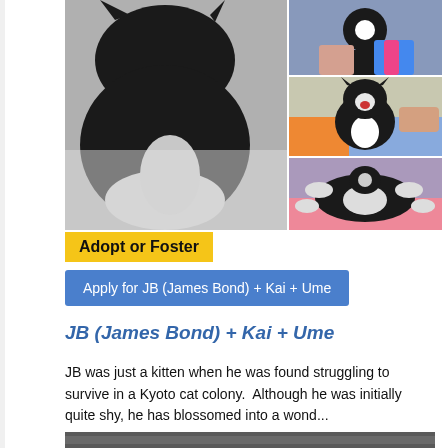[Figure (photo): Photo collage of cats: large photo of black and white cat on left, three smaller photos on right showing kitten being held, kitten on colorful fabric, and cat lying on its back]
Adopt or Foster
Apply for JB (James Bond) + Kai + Ume
JB (James Bond) + Kai + Ume
JB was just a kitten when he was found struggling to survive in a Kyoto cat colony.  Although he was initially quite shy, he has blossomed into a wond...
[Figure (photo): Partial bottom photo of cat]